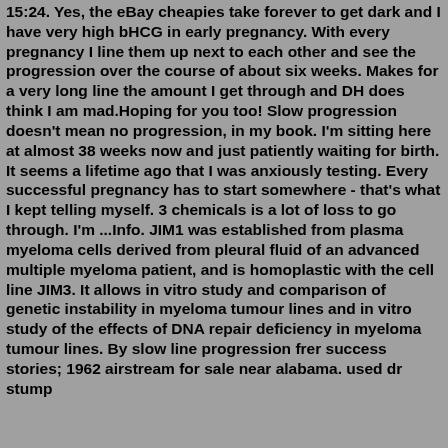15:24. Yes, the eBay cheapies take forever to get dark and I have very high bHCG in early pregnancy. With every pregnancy I line them up next to each other and see the progression over the course of about six weeks. Makes for a very long line the amount I get through and DH does think I am mad.Hoping for you too! Slow progression doesn't mean no progression, in my book. I'm sitting here at almost 38 weeks now and just patiently waiting for birth. It seems a lifetime ago that I was anxiously testing. Every successful pregnancy has to start somewhere - that's what I kept telling myself. 3 chemicals is a lot of loss to go through. I'm ...Info. JIM1 was established from plasma myeloma cells derived from pleural fluid of an advanced multiple myeloma patient, and is homoplastic with the cell line JIM3. It allows in vitro study and comparison of genetic instability in myeloma tumour lines and in vitro study of the effects of DNA repair deficiency in myeloma tumour lines. By slow line progression frer success stories; 1962 airstream for sale near alabama. used dr stump